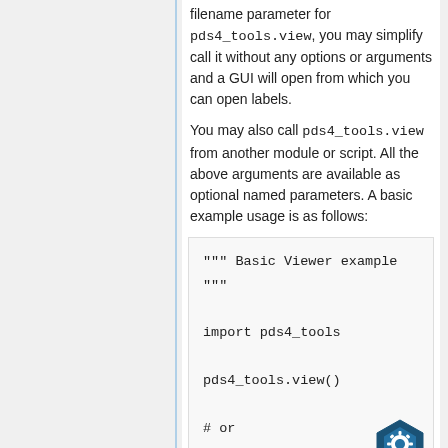filename parameter for pds4_tools.view, you may simplify call it without any options or arguments and a GUI will open from which you can open labels.
You may also call pds4_tools.view from another module or script. All the above arguments are available as optional named parameters. A basic example usage is as follows:
""" Basic Viewer example
"""

import pds4_tools

pds4_tools.view()

# or

pds4_tools.view('/r